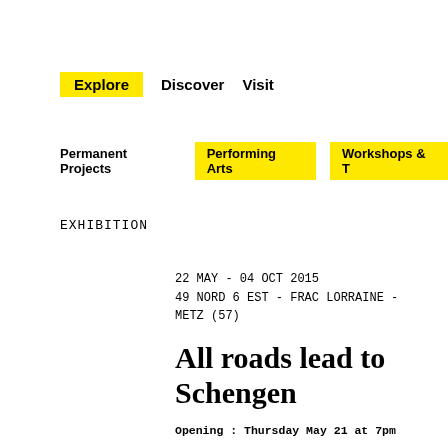Explore   Discover   Visit
Permanent Projects   Performing Arts   Workshops &...
EXHIBITION
22 MAY - 04 OCT 2015
49 NORD 6 EST - FRAC LORRAINE -
METZ (57)
All roads lead to Schengen
Opening : Thursday May 21 at 7pm
MORE INFORMATION